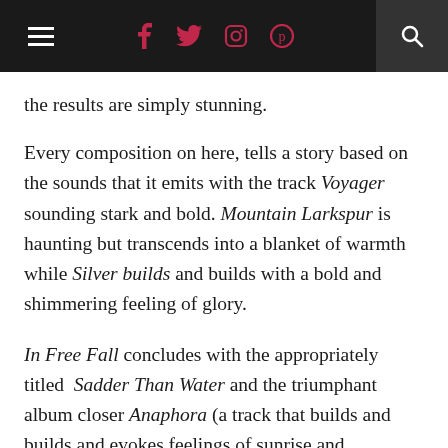≡  f  y  ☐  ⊕  🔍
the results are simply stunning.
Every composition on here, tells a story based on the sounds that it emits with the track Voyager sounding stark and bold. Mountain Larkspur is haunting but transcends into a blanket of warmth while Silver builds and builds with a bold and shimmering feeling of glory.
In Free Fall concludes with the appropriately titled Sadder Than Water and the triumphant album closer Anaphora (a track that builds and builds and evokes feelings of sunrise and, subsequently, new beginnings) that ends the album on a sheer high in the most beautifully sublime way. This is instrumental